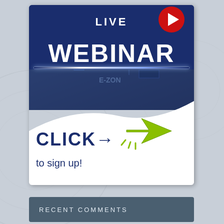[Figure (infographic): Live Webinar promotional banner with dark blue background showing circuit board imagery. Contains 'LIVE' text at top with red play button icon, large 'WEBINAR' text, a white curved lower section with 'CLICK to sign up!' text and a green arrow cursor graphic.]
RECENT COMMENTS